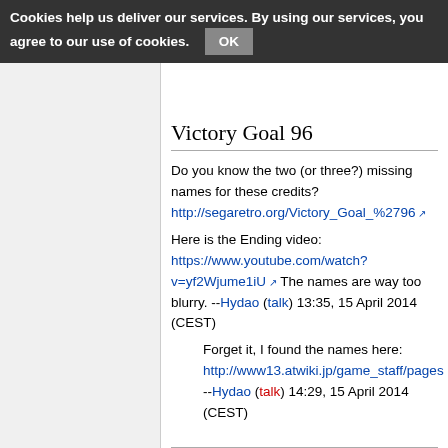Cookies help us deliver our services. By using our services, you agree to our use of cookies. OK
Yes on the roles. Deleted the Ultraman credits. CRV (talk) 16:13, 6 April 2014 (CEST)
Victory Goal 96
Do you know the two (or three?) missing names for these credits? http://segaretro.org/Victory_Goal_%2796
Here is the Ending video: https://www.youtube.com/watch?v=yf2Wjume1iU The names are way too blurry. --Hydao (talk) 13:35, 15 April 2014 (CEST)
Forget it, I found the names here: http://www13.atwiki.jp/game_staff/pages --Hydao (talk) 14:29, 15 April 2014 (CEST)